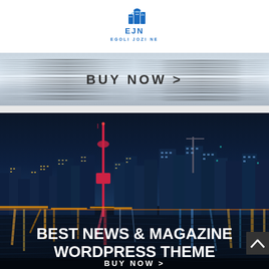[Figure (logo): EJN Egoli Jozi Ne logo — blue building icon above text EJN and EGOLI JOZI NE]
[Figure (screenshot): BUY NOW > banner strip with rippled water-like silver/grey horizontal lines background]
[Figure (photo): Night cityscape of Toronto with CN Tower and illuminated skyscrapers reflected in water, overlaid with text BEST NEWS & MAGAZINE WORDPRESS THEME and BUY NOW >]